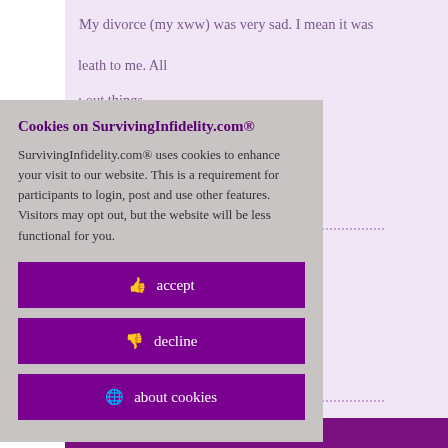My divorce (my xww) was very sad. I mean it was
leath to me. All
: out things
R; DDay 3, I left; oman
head than any
a fool repeats
id 8472711
Cookies on SurvivingInfidelity.com®
SurvivingInfidelity.com® uses cookies to enhance your visit to our website. This is a requirement for participants to login, post and use other features. Visitors may opt out, but the website will be less functional for you.
accept
decline
about cookies
Policy